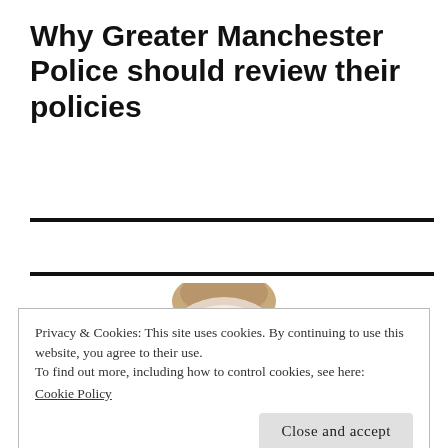Why Greater Manchester Police should review their policies
[Figure (photo): Partial photograph of a person's head (top of head visible, face partially obscured), wearing a dark suit with red tie, visible from approximately chin-level down at the bottom of the image.]
Privacy & Cookies: This site uses cookies. By continuing to use this website, you agree to their use.
To find out more, including how to control cookies, see here:
Cookie Policy